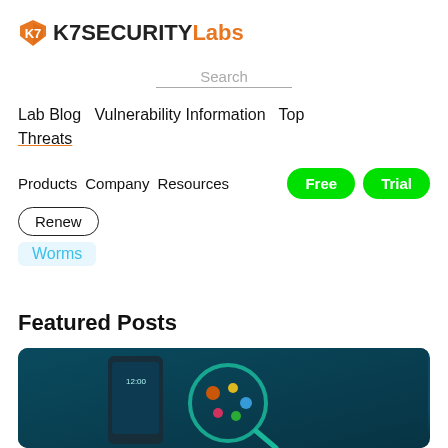[Figure (logo): K7 Security Labs logo with orange shield/chevron icon and text]
Search
Lab Blog   Vulnerability Information   Top Threats
Products   Company   Resources   Free Trial   Renew
Worms
Featured Posts
[Figure (screenshot): Featured blog post thumbnail showing a smartphone and magnifying glass over app icons on teal/dark background, with text 'Go! Investigating Data Privacy']